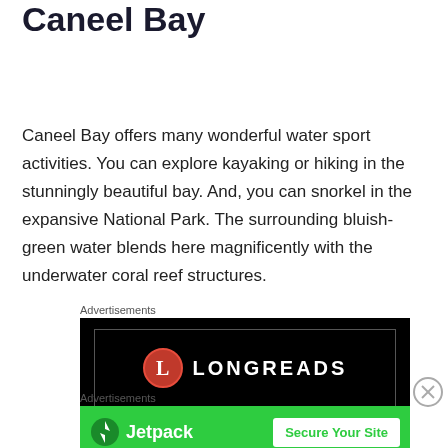Adventurous Sports at Caneel Bay
Caneel Bay offers many wonderful water sport activities. You can explore kayaking or hiking in the stunningly beautiful bay. And, you can snorkel in the expansive National Park. The surrounding bluish-green water blends here magnificently with the underwater coral reef structures.
Advertisements
[Figure (logo): Longreads advertisement banner with red circle L logo on black background]
Advertisements
[Figure (logo): Jetpack advertisement banner on green background with Secure Your Site button]